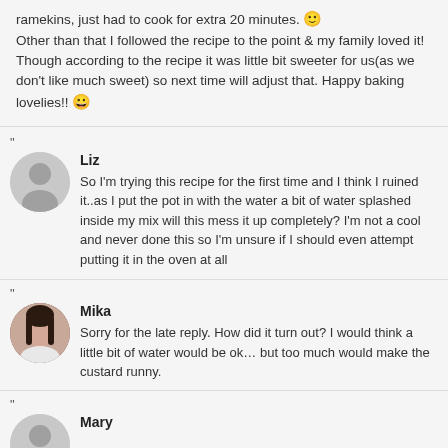ramekins, just had to cook for extra 20 minutes. 🙂 Other than that I followed the recipe to the point & my family loved it! Though according to the recipe it was little bit sweeter for us(as we don't like much sweet) so next time will adjust that. Happy baking lovelies!! 😀
Liz
So I'm trying this recipe for the first time and I think I ruined it..as I put the pot in with the water a bit of water splashed inside my mix will this mess it up completely? I'm not a cool and never done this so I'm unsure if I should even attempt putting it in the oven at all
Mika
Sorry for the late reply. How did it turn out? I would think a little bit of water would be ok… but too much would make the custard runny.
Mary